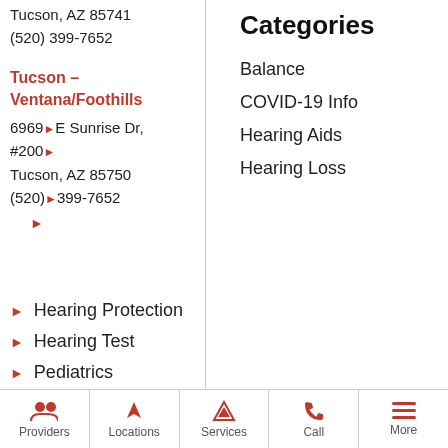Tucson, AZ 85741
(520) 399-7652
Tucson – Ventana/Foothills
6969 E Sunrise Dr, #200
Tucson, AZ 85750
(520) 399-7652
Categories
Balance
COVID-19 Info
Hearing Aids
Hearing Loss
Hearing Protection
Hearing Test
Pediatrics
Providers   Locations   Services   Call   More